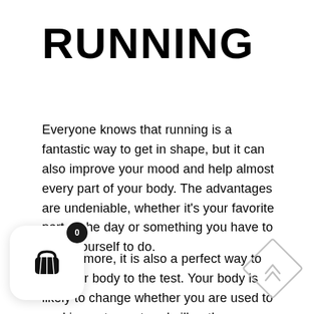RUNNING
Everyone knows that running is a fantastic way to get in shape, but it can also improve your mood and help almost every part of your body. The advantages are undeniable, whether it's your favorite part of the day or something you have to force yourself to do.
Furthermore, it is also a perfect way to put your body to the test. Your body is likely to change whether you are used to working out on a treadmill or the pavement. It